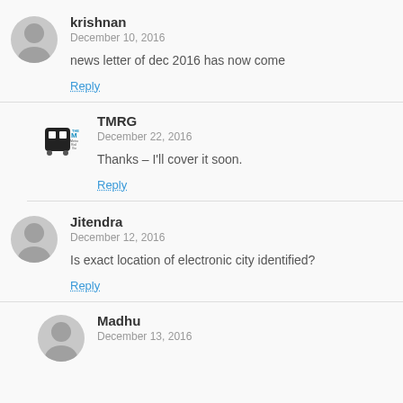krishnan
December 10, 2016
news letter of dec 2016 has now come
Reply
TMRG
December 22, 2016
Thanks – I'll cover it soon.
Reply
Jitendra
December 12, 2016
Is exact location of electronic city identified?
Reply
Madhu
December 13, 2016